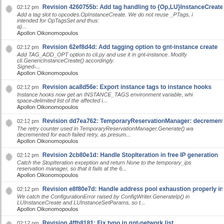02:12 pm Revision 4260755b: Add tag handling to {Op,LU}InstanceCreate
Add a tag slot to opcodes.OpInstanceCreate. We do not reuse _PTags, intended for OpTagsSet and thus: a)...
Apollon Oikonomopoulos
02:12 pm Revision 62ef8d4d: Add tagging option to gnt-instance create
Add TAG_ADD_OPT option to cli.py and use it in gnt-instance. Modify cli.GenericInstanceCreate() accordingly. Signed-...
Apollon Oikonomopoulos
02:12 pm Revision aca8d56e: Export instance tags to instance hooks
Instance hooks now get an INSTANCE_TAGS environment variable, whi space-delimited list of the affected i...
Apollon Oikonomopoulos
02:12 pm Revision dd7ea762: TemporaryReservationManager: decrement
The retry counter used in TemporaryReservationManager.Generate() wa decremented for each failed retry, as presum...
Apollon Oikonomopoulos
02:12 pm Revision 2cb80e1d: Handle StopIteration in free IP generation
Catch the StopIteration exception and return None to the temporary_ips reservation manager, so that it fails at the 6...
Apollon Oikonomopoulos
02:12 pm Revision e8f80e7d: Handle address pool exhaustion properly in
We catch the ConfigurationError raised by ConfigWriter.GenerateIp() in LUInstanceCreate and LUInstanceSetParams, so t...
Apollon Oikonomopoulos
02:12 pm Revision 4ffb8181: Fix typo in gnt-network list
ToStdOut -> ToStdout
Signed-off-by: Apollon Oikonomopoulos